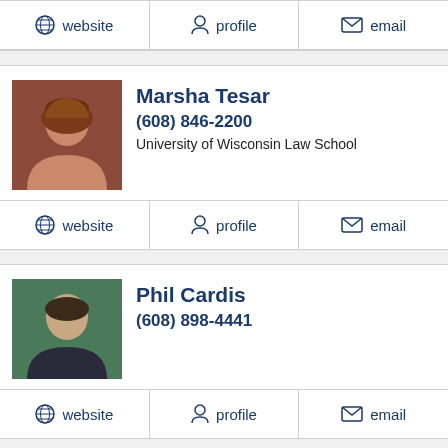[Figure (other): Partial top action bar with website, profile, email links]
[Figure (photo): Photo of Marsha Tesar]
Marsha Tesar
(608) 846-2200
University of Wisconsin Law School
[Figure (other): Action bar with website, profile, email links for Marsha Tesar]
[Figure (photo): Photo of Phil Cardis]
Phil Cardis
(608) 898-4441
[Figure (other): Action bar with website, profile, email links for Phil Cardis]
[Figure (photo): Partial photo of Jason Anthony Greller]
Jason Anthony Greller